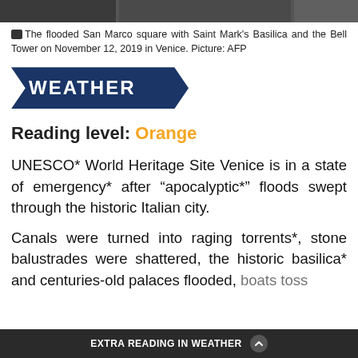[Figure (photo): Top strip showing a flooded Venice scene with dark/blurred image]
The flooded San Marco square with Saint Mark's Basilica and the Bell Tower on November 12, 2019 in Venice. Picture: AFP
[Figure (logo): WEATHER banner in dark blue pentagon/arrow shape with white bold text]
Reading level: Orange
UNESCO* World Heritage Site Venice is in a state of emergency* after “apocalyptic*” floods swept through the historic Italian city.
Canals were turned into raging torrents*, stone balustrades were shattered, the historic basilica* and centuries-old palaces flooded, boats toss... smashed
EXTRA READING IN WEATHER